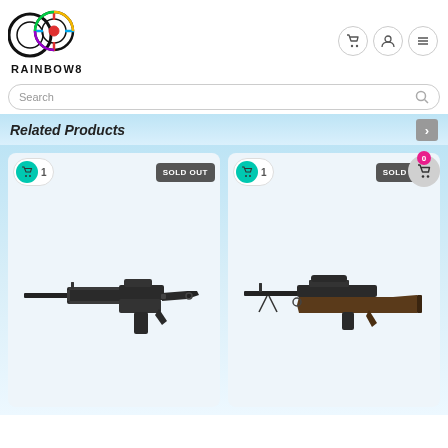[Figure (logo): Rainbow8 logo with concentric circles and crosshair target in rainbow colors]
RAINBOW8
[Figure (screenshot): Navigation icons: shopping cart, user profile, hamburger menu]
Search
Related Products
[Figure (photo): Product card 1: assault rifle style airsoft gun, SOLD OUT, quantity 1]
[Figure (photo): Product card 2: M14 style rifle airsoft gun, SOLD OUT, quantity 1]